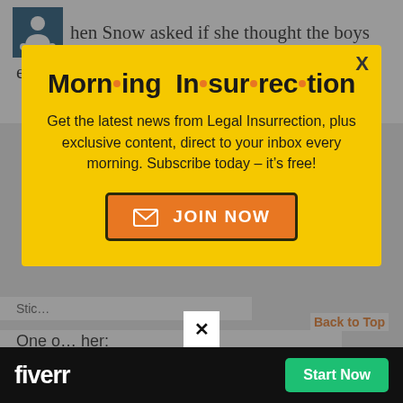hen Snow asked if she thought the boys ere gathered in order to rape girls in the rooms, Swetnick replied “yes.”
[Figure (infographic): Modal popup advertisement for Morning Insurrection newsletter with yellow background, bold title, body text, and orange JOIN NOW button]
Get the latest news from Legal Insurrection, plus exclusive content, direct to your inbox every morning. Subscribe today – it’s free!
One o... her;
[Figure (infographic): Fiverr advertisement banner at bottom with black background, white Fiverr logo, and green Start Now button]